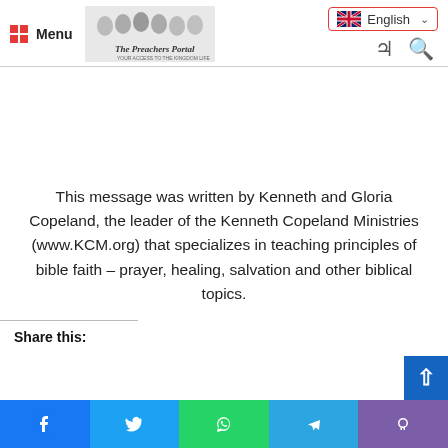Menu | The Preachers Portal | English
This message was written by Kenneth and Gloria Copeland, the leader of the Kenneth Copeland Ministries (www.KCM.org) that specializes in teaching principles of bible faith – prayer, healing, salvation and other biblical topics.
Share this: